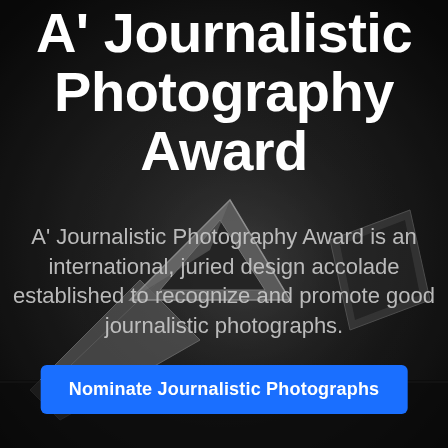[Figure (photo): Dark black-and-white background photo of metallic A' Design Award trophy/statuette with angular geometric diamond-like shape, shot with shallow depth of field on a dark surface.]
A' Journalistic Photography Award
A' Journalistic Photography Award is an international, juried design accolade established to recognize and promote good journalistic photographs.
Nominate Journalistic Photographs